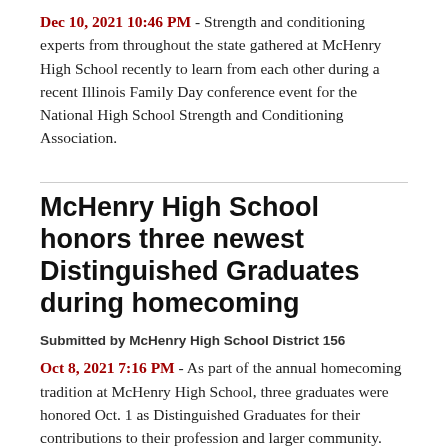Dec 10, 2021 10:46 PM - Strength and conditioning experts from throughout the state gathered at McHenry High School recently to learn from each other during a recent Illinois Family Day conference event for the National High School Strength and Conditioning Association.
McHenry High School honors three newest Distinguished Graduates during homecoming
Submitted by McHenry High School District 156
Oct 8, 2021 7:16 PM - As part of the annual homecoming tradition at McHenry High School, three graduates were honored Oct. 1 as Distinguished Graduates for their contributions to their profession and larger community.